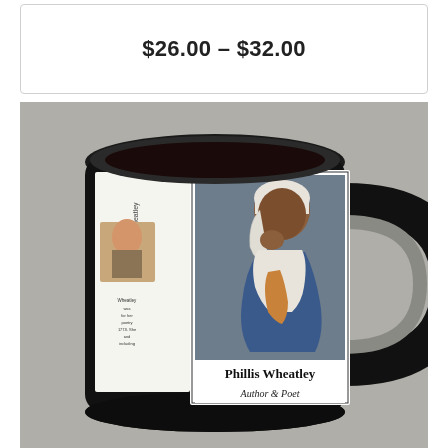$26.00 – $32.00
[Figure (photo): A black ceramic coffee mug featuring a label with a portrait of Phillis Wheatley depicted in profile view, wearing a white head covering and blue garment with white shawl, with text reading 'Phillis Wheatley' and 'Author & Poet'. The mug has a large black handle on the right side. The background is grey/beige.]